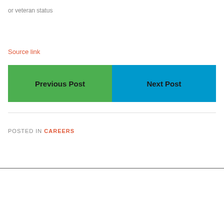or veteran status
Source link
Previous Post
Next Post
POSTED IN CAREERS